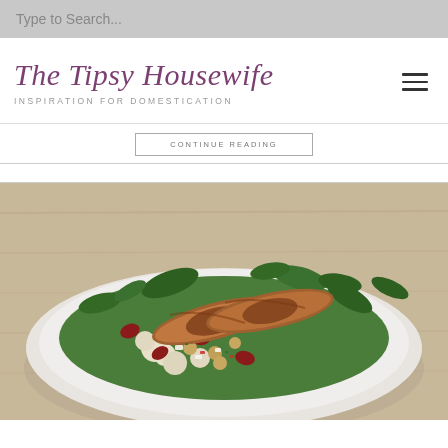Type to Search...
The Tipsy Housewife
INSPIRATION FOR DOMESTICATION
CONTINUE READING
[Figure (photo): A white plate on a wooden table containing two grilled sausages on top of a salad with kidney beans, chickpeas, cauliflower, greens, and colorful vegetables.]